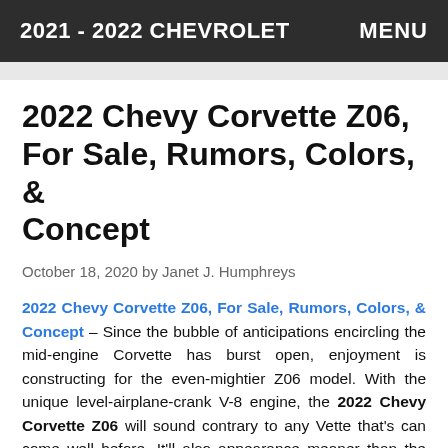2021 - 2022 CHEVROLET   MENU
2022 Chevy Corvette Z06, For Sale, Rumors, Colors, & Concept
October 18, 2020 by Janet J. Humphreys
2022 Chevy Corvette Z06, For Sale, Rumors, Colors, & Concept – Since the bubble of anticipations encircling the mid-engine Corvette has burst open, enjoyment is constructing for the even-mightier Z06 model. With the unique level-airplane-crank V-8 engine, the 2022 Chevy Corvette Z06 will sound contrary to any Vette that's can come well before. It'll also appearance meaner than the popular C8